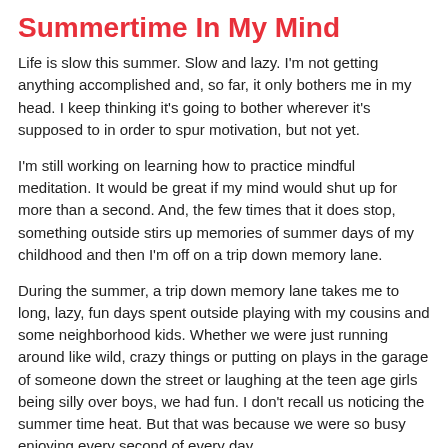Summertime In My Mind
Life is slow this summer. Slow and lazy. I'm not getting anything accomplished and, so far, it only bothers me in my head. I keep thinking it's going to bother wherever it's supposed to in order to spur motivation, but not yet.
I'm still working on learning how to practice mindful meditation. It would be great if my mind would shut up for more than a second. And, the few times that it does stop, something outside stirs up memories of summer days of my childhood and then I'm off on a trip down memory lane.
During the summer, a trip down memory lane takes me to long, lazy, fun days spent outside playing with my cousins and some neighborhood kids. Whether we were just running around like wild, crazy things or putting on plays in the garage of someone down the street or laughing at the teen age girls being silly over boys, we had fun. I don't recall us noticing the summer time heat. But that was because we were so busy enjoying every second of every day.
My favorite thing to do at lunch was eat at my cousins' house. There were four of them and, until I was 12, only one of me so, going to their house